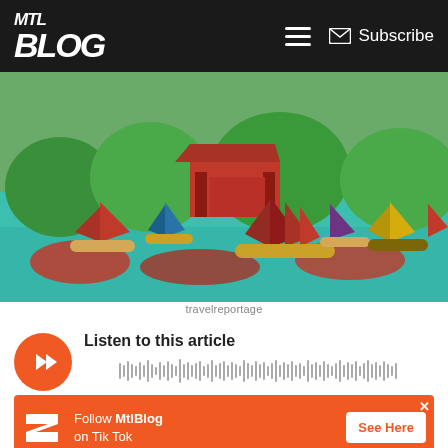MTL Blog | Subscribe
[Figure (photo): Colorful sailboats with vibrant sails on a green lake, with a traditional Chinese red pavilion and lush greenery in the background]
travelreportage
[Figure (other): Audio player with orange play button and waveform. Heading: Listen to this article]
[Figure (other): Orange advertisement banner: Follow MtlBlog on Tik Tok, See Here button]
Everyone loves to celebrate spring since the cold is gone and the sun is shining! Most people celebrate with